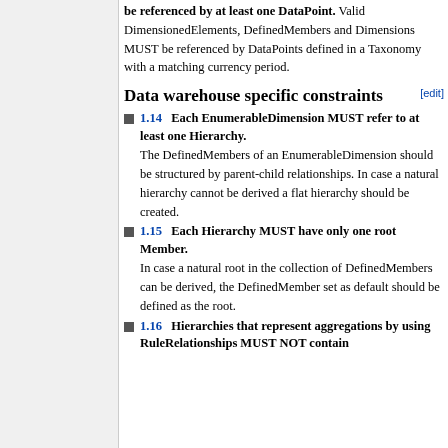be referenced by at least one DataPoint. Valid DimensionedElements, DefinedMembers and Dimensions MUST be referenced by DataPoints defined in a Taxonomy with a matching currency period.
Data warehouse specific constraints
1.14  Each EnumerableDimension MUST refer to at least one Hierarchy. The DefinedMembers of an EnumerableDimension should be structured by parent-child relationships. In case a natural hierarchy cannot be derived a flat hierarchy should be created.
1.15  Each Hierarchy MUST have only one root Member. In case a natural root in the collection of DefinedMembers can be derived, the DefinedMember set as default should be defined as the root.
1.16  Hierarchies that represent aggregations by using RuleRelationships MUST NOT contain